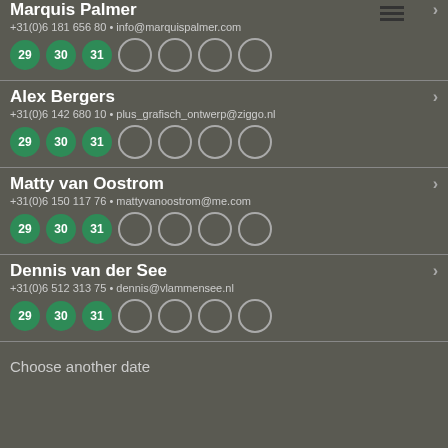Marquis Palmer
+31(0)6 181 656 80 • info@marquispalmer.com
Circles: 29, 30, 31 (filled), 4 empty
Alex Bergers
+31(0)6 142 680 10 • plus_grafisch_ontwerp@ziggo.nl
Circles: 29, 30, 31 (filled), 4 empty
Matty van Oostrom
+31(0)6 150 117 76 • mattyvanoostrom@me.com
Circles: 29, 30, 31 (filled), 4 empty
Dennis van der See
+31(0)6 512 313 75 • dennis@vlammensee.nl
Circles: 29, 30, 31 (filled), 4 empty
Choose another date